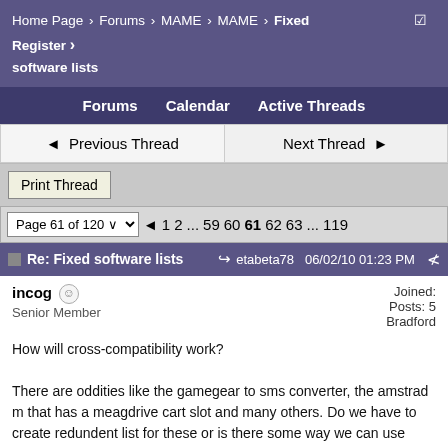Home Page > Forums > MAME > MAME > Fixed software lists   Register
Forums   Calendar   Active Threads
◄ Previous Thread
Next Thread ►
Print Thread
Page 61 of 120 ∨  ◄  1  2  ...  59  60  61  62  63  ...  119
Re: Fixed software lists   etabeta78  06/02/10 01:23 PM
incog  ☺
Senior Member
Joined:
Posts: 5
Bradford
How will cross-compatibility work?

There are oddities like the gamegear to sms converter, the amstrad m that has a meagdrive cart slot and many others. Do we have to create redundent list for these or is there some way we can use some compa flag pointing to the main list of the compatible sofware?